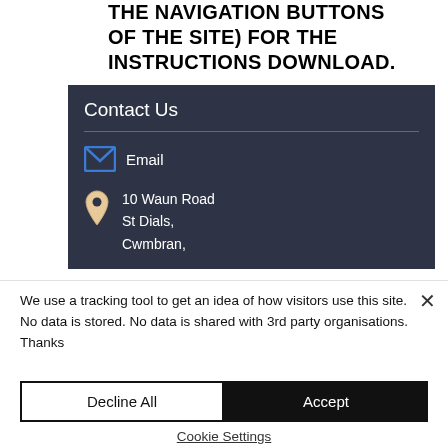THE NAVIGATION BUTTONS OF THE SITE) FOR THE INSTRUCTIONS DOWNLOAD.
[Figure (infographic): Contact Us box with dark navy background. Contains 'Contact Us' heading, a horizontal blue divider, an email icon with 'Email' label, and a location pin icon with address '10 Waun Road, St Dials, Cwmbran,']
We use a tracking tool to get an idea of how visitors use this site. No data is stored. No data is shared with 3rd party organisations. Thanks
Decline All
Accept
Cookie Settings